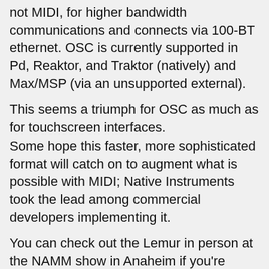not MIDI, for higher bandwidth communications and connects via 100-BT ethernet. OSC is currently supported in Pd, Reaktor, and Traktor (natively) and Max/MSP (via an unsupported external).
This seems a triumph for OSC as much as for touchscreen interfaces. Some hope this faster, more sophisticated format will catch on to augment what is possible with MIDI; Native Instruments took the lead among commercial developers implementing it.
You can check out the Lemur in person at the NAMM show in Anaheim if you're there, or in NYC at Share on January 30, before the developers return to France. Let us know if you get first-hand experience with it or (lucky dog) buy one!